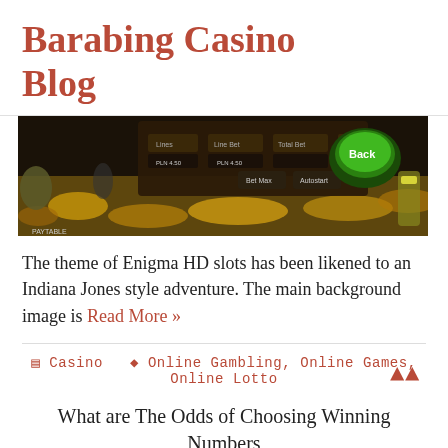Barabing Casino Blog
[Figure (screenshot): Screenshot of Enigma HD slots game interface showing a dark-themed treasure/adventure game with gold coins, game controls and a green 'Back' button.]
The theme of Enigma HD slots has been likened to an Indiana Jones style adventure. The main background image is  Read More »
Casino  Online Gambling,  Online Games,  Online Lotto
What are The Odds of Choosing Winning Numbers